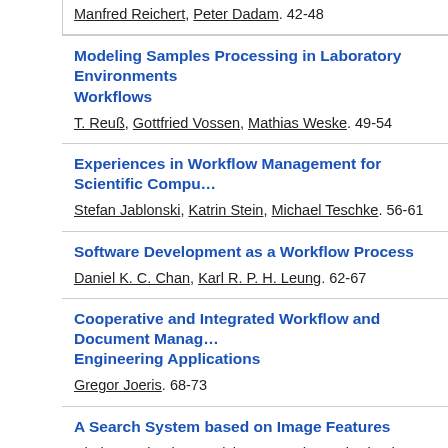Manfred Reichert, Peter Dadam. 42-48
Modeling Samples Processing in Laboratory Environments Workflows
T. Reuß, Gottfried Vossen, Mathias Weske. 49-54
Experiences in Workflow Management for Scientific Compu...
Stefan Jablonski, Katrin Stein, Michael Teschke. 56-61
Software Development as a Workflow Process
Daniel K. C. Chan, Karl R. P. H. Leung. 62-67
Cooperative and Integrated Workflow and Document Manag... Engineering Applications
Gregor Joeris. 68-73
A Search System based on Image Features
Chabane Djeraba, Patrick Fargeaud, Henri Briand. 80-85